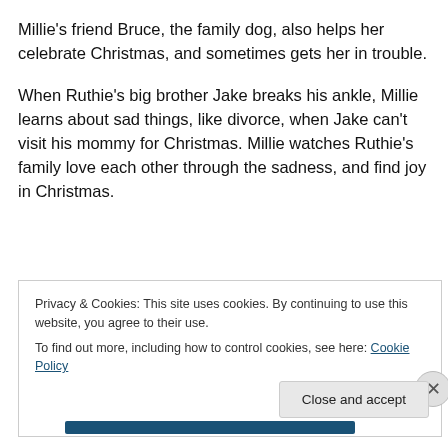Millie's friend Bruce, the family dog, also helps her celebrate Christmas, and sometimes gets her in trouble.
When Ruthie's big brother Jake breaks his ankle, Millie learns about sad things, like divorce, when Jake can't visit his mommy for Christmas. Millie watches Ruthie's family love each other through the sadness, and find joy in Christmas.
Privacy & Cookies: This site uses cookies. By continuing to use this website, you agree to their use.
To find out more, including how to control cookies, see here: Cookie Policy
Close and accept